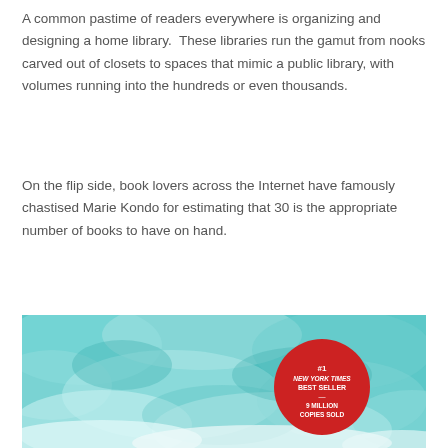A common pastime of readers everywhere is organizing and designing a home library.  These libraries run the gamut from nooks carved out of closets to spaces that mimic a public library, with volumes running into the hundreds or even thousands.
On the flip side, book lovers across the Internet have famously chastised Marie Kondo for estimating that 30 is the appropriate number of books to have on hand.
[Figure (illustration): Book cover with teal/turquoise cloud-like texture background and a red circular badge reading '#1 NEW YORK TIMES BEST SELLER — 9 MILLION COPIES SOLD']